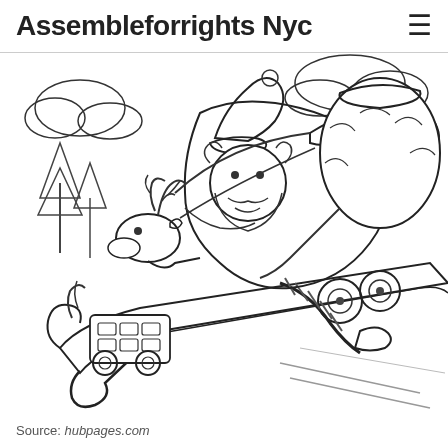Assembleforrights Nyc
[Figure (illustration): A black and white coloring page illustration showing a cartoon Santa Claus character riding a rocket-powered sleigh at an angle, with a reindeer in front, a large bag of toys, and motion lines suggesting speed. Clouds and trees are visible in the background.]
Source: hubpages.com